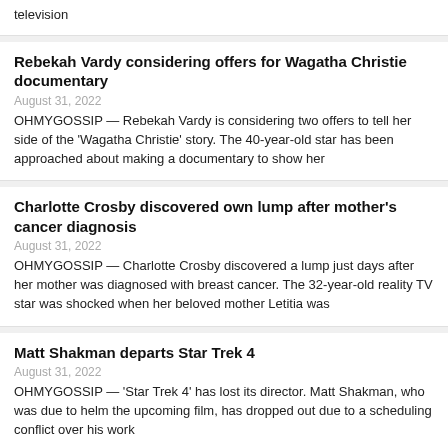television
Rebekah Vardy considering offers for Wagatha Christie documentary
August 31, 2022
OHMYGOSSIP — Rebekah Vardy is considering two offers to tell her side of the 'Wagatha Christie' story. The 40-year-old star has been approached about making a documentary to show her
Charlotte Crosby discovered own lump after mother's cancer diagnosis
August 31, 2022
OHMYGOSSIP — Charlotte Crosby discovered a lump just days after her mother was diagnosed with breast cancer. The 32-year-old reality TV star was shocked when her beloved mother Letitia was
Matt Shakman departs Star Trek 4
August 31, 2022
OHMYGOSSIP — 'Star Trek 4' has lost its director. Matt Shakman, who was due to helm the upcoming film, has dropped out due to a scheduling conflict over his work
Brad Pitt inspired Baltasar Kormakur's Beast
August 31, 2022
OHMYGOSSIP — Brad Pitt's 'Snatch' performance inspired 'Beast' director Baltasar Kormakur. The 58-